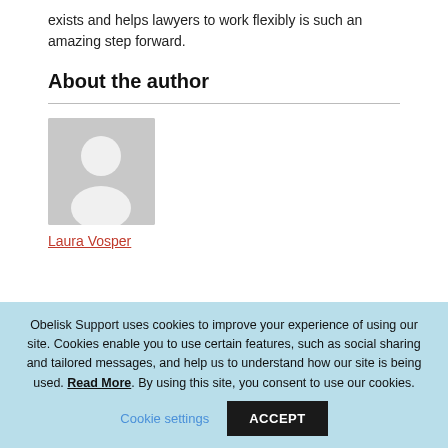exists and helps lawyers to work flexibly is such an amazing step forward.
About the author
[Figure (photo): Generic grey avatar/silhouette placeholder image for author photo]
Laura Vosper
Obelisk Support uses cookies to improve your experience of using our site. Cookies enable you to use certain features, such as social sharing and tailored messages, and help us to understand how our site is being used. Read More. By using this site, you consent to use our cookies.
Cookie settings  ACCEPT